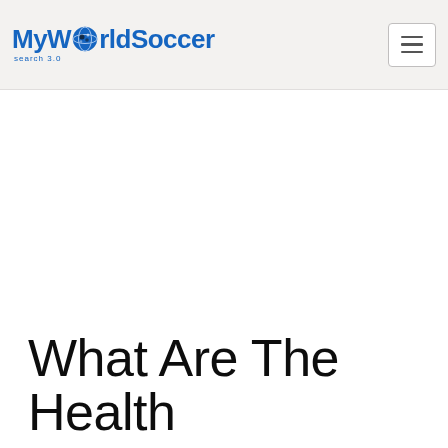MyWorldSoccer
What Are The Health